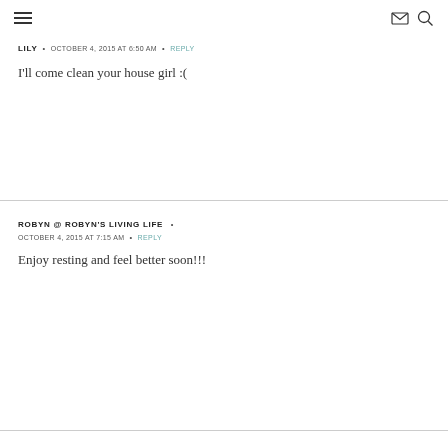Navigation header with hamburger menu, email icon, and search icon
LILY • OCTOBER 4, 2015 AT 6:50 AM • REPLY
I'll come clean your house girl :(
ROBYN @ ROBYN'S LIVING LIFE • OCTOBER 4, 2015 AT 7:15 AM • REPLY
Enjoy resting and feel better soon!!!